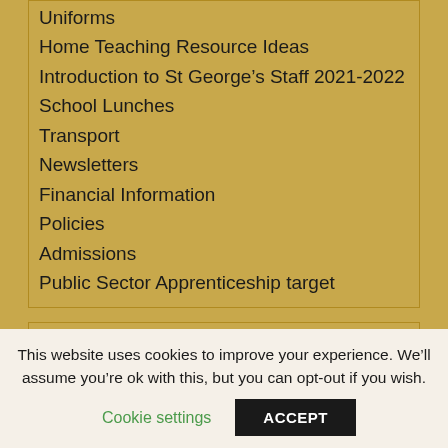Uniforms
Home Teaching Resource Ideas
Introduction to St George's Staff 2021-2022
School Lunches
Transport
Newsletters
Financial Information
Policies
Admissions
Public Sector Apprenticeship target
In the News
(no title) 22nd July 2022
This website uses cookies to improve your experience. We'll assume you're ok with this, but you can opt-out if you wish.